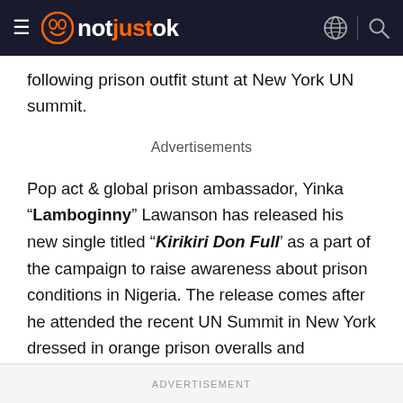notjustok
following prison outfit stunt at New York UN summit.
Advertisements
Pop act & global prison ambassador, Yinka "Lamboginny" Lawanson has released his new single titled "Kirikiri Don Full' as a part of the campaign to raise awareness about prison conditions in Nigeria. The release comes after he attended the recent UN Summit in New York dressed in orange prison overalls and handcuffed to make a public statement about overcrowded Nigerian prisons and the high number of detainees who spend months or even years awaiting trial.
ADVERTISEMENT